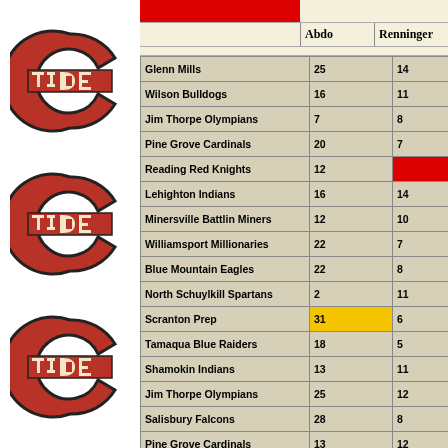[Figure (logo): TIDE logo (crimson C with TIDE text), repeated three times on left column]
|  | Abdo | Renninger |
| --- | --- | --- |
| Glenn Mills | 25 | 14 |
| Wilson Bulldogs | 16 | 11 |
| Jim Thorpe Olympians | 7 | 8 |
| Pine Grove Cardinals | 20 | 7 |
| Reading Red Knights | 12 | [red] |
| Lehighton Indians | 16 | 14 |
| Minersville Battlin Miners | 12 | 10 |
| Williamsport Millionaries | 22 | 7 |
| Blue Mountain Eagles | 22 | 8 |
| North Schuylkill Spartans | 2 | 11 |
| Scranton Prep | 31 | 6 |
| Tamaqua Blue Raiders | 18 | 5 |
| Shamokin Indians | 13 | 11 |
| Jim Thorpe Olympians | 25 | 12 |
| Salisbury Falcons | 28 | 8 |
| Pine Grove Cardinals | 13 | 12 |
| Lehighton Indians | 13 | 10 |
| Berks Catholic | 15 | 11 |
| Blue Mountain Eagles | 24 | 7 |
| North Schuylkill Spartans | 14 | 16 |